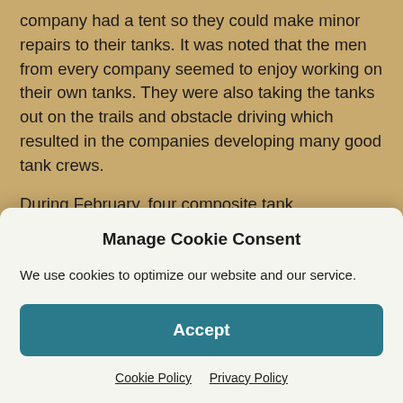company had a tent so they could make minor repairs to their tanks. It was noted that the men from every company seemed to enjoy working on their own tanks. They were also taking the tanks out on the trails and obstacle driving which resulted in the companies developing many good tank crews.
During February, four composite tank detachments made of men from all the companies of the battalion left Ft. Knox – on different dates – on problematic moves at 9:00 A.M. The detachments consisted of three motorcycles, two scout cars, sixteen tanks, one
Manage Cookie Consent
We use cookies to optimize our website and our service.
Accept
Cookie Policy  Privacy Policy